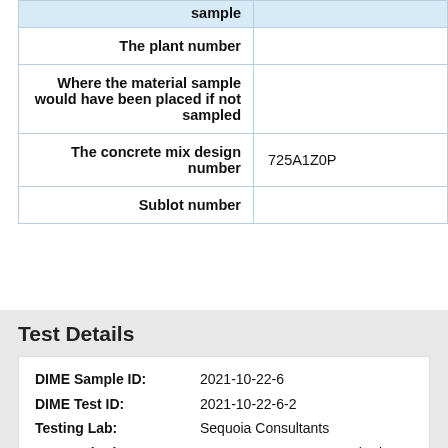| Field | Value |
| --- | --- |
| sample |  |
| The plant number |  |
| Where the material sample would have been placed if not sampled |  |
| The concrete mix design number | 725A1Z0P |
| Sublot number |  |
Test Details
DIME Sample ID: 2021-10-22-6
DIME Test ID: 2021-10-22-6-2
Testing Lab: Sequoia Consultants
Test Method: CTM 217-June 2011: Method
Test Release Date: 2021-10-25